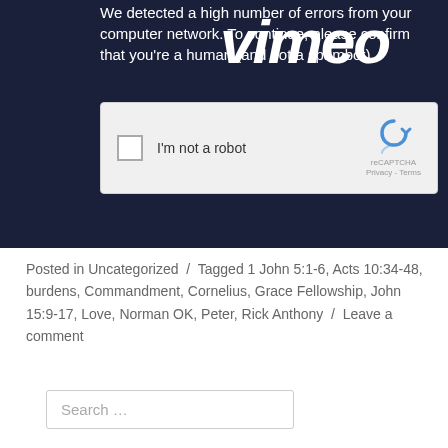[Figure (screenshot): Vimeo error page with reCAPTCHA widget. Dark navy background showing Vimeo logo overlaid with text: 'We detected a high number of errors from your computer network. To continue, please confirm that you're a human (and not a spambot).' A reCAPTCHA checkbox widget below reads 'I'm not a robot'.]
Posted in Uncategorized / Tagged 1 John 5:1-6, Acts 10:34-48, burdens, Commandment, Cornelius, Grace Fellowship, John 15:9-17, Love, Norman OK, Peter, Rick Anthony / Leave a comment
Search …